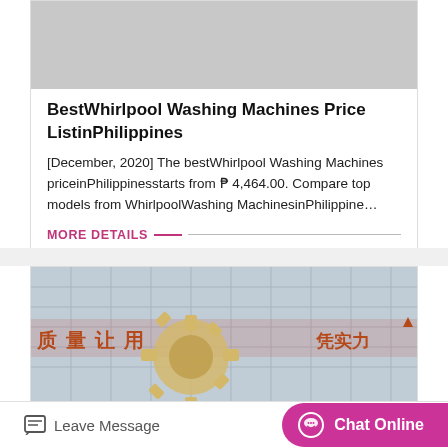[Figure (photo): Gray placeholder rectangle representing an unloaded image at the top of the first card]
BestWhirlpool Washing Machines Price ListinPhilippines
[December, 2020] The bestWhirlpool Washing Machines priceinPhilippinesstarts from ₱ 4,464.00. Compare top models from WhirlpoolWashing MachinesinPhilippine…
MORE DETAILS
[Figure (photo): Photo of a building facade with Chinese characters and a large gear/cog decoration in the foreground]
Leave Message
Chat Online